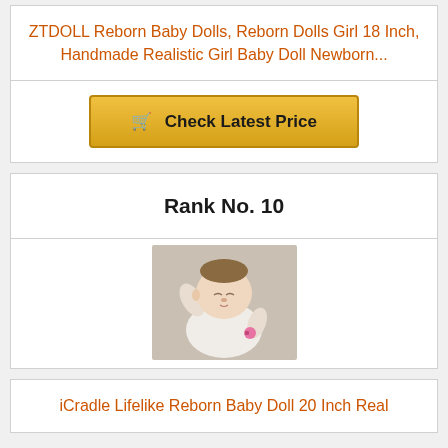ZTDOLL Reborn Baby Dolls, Reborn Dolls Girl 18 Inch, Handmade Realistic Girl Baby Doll Newborn...
Check Latest Price
Rank No. 10
[Figure (photo): A realistic lifelike reborn baby doll dressed in white clothing with a pink pacifier, appearing to sleep with one arm raised near the head.]
iCradle Lifelike Reborn Baby Doll 20 Inch Real